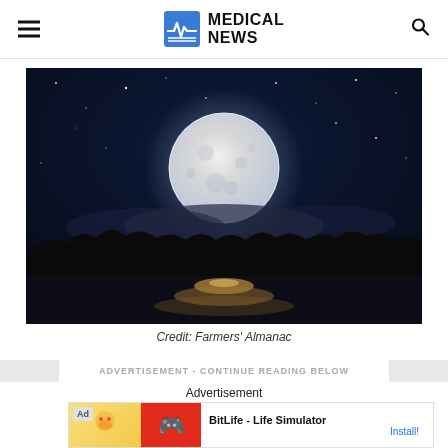MEDICAL NEWS
[Figure (photo): Full moon rising over a dark lake at night with starry sky and silhouette of trees]
Credit: Farmers' Almanac
ADVERTISEMENT - CONTINUE READING BELOW
Advertisement
[Figure (screenshot): Ad banner for BitLife - Life Simulator with Install button]